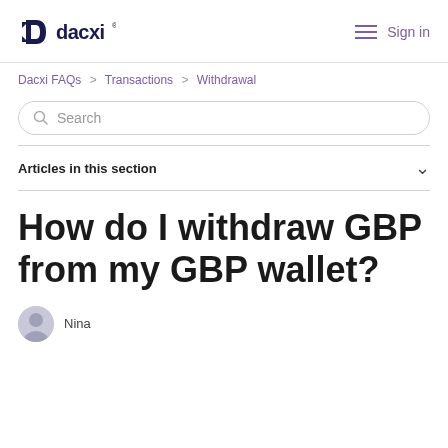dacxi  Sign in
Dacxi FAQs > Transactions > Withdrawal
Search
Articles in this section
How do I withdraw GBP from my GBP wallet?
Nina